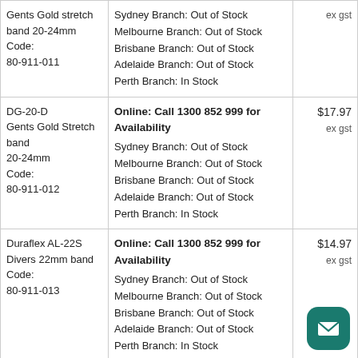| Product | Availability | Price |
| --- | --- | --- |
| Gents Gold stretch band 20-24mm
Code: 80-911-011 | Sydney Branch: Out of Stock
Melbourne Branch: Out of Stock
Brisbane Branch: Out of Stock
Adelaide Branch: Out of Stock
Perth Branch: In Stock | ex gst |
| DG-20-D Gents Gold Stretch band 20-24mm
Code: 80-911-012 | Online: Call 1300 852 999 for Availability
Sydney Branch: Out of Stock
Melbourne Branch: Out of Stock
Brisbane Branch: Out of Stock
Adelaide Branch: Out of Stock
Perth Branch: In Stock | $17.97
ex gst |
| Duraflex AL-22S Divers 22mm band
Code: 80-911-013 | Online: Call 1300 852 999 for Availability
Sydney Branch: Out of Stock
Melbourne Branch: Out of Stock
Brisbane Branch: Out of Stock
Adelaide Branch: Out of Stock
Perth Branch: In Stock | $14.97
ex gst |
| DURAFLEX RV-24 24MM DIVERS BAND | Online: Call 1300 852 999 for Availability
Sydney Branch: Out of Stock
Melbourne Branch: Out of Stock | $ |